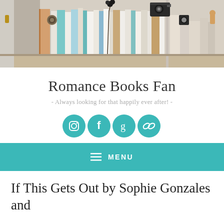[Figure (photo): A bookshelf filled with books of various colors, with a vintage camera, decorative flowers, and small figurines on top.]
Romance Books Fan
- Always looking for that happily ever after! -
[Figure (infographic): Four teal circular social media icons: Instagram, Facebook, Goodreads, and a chain-link/links icon.]
MENU
If This Gets Out by Sophie Gonzales and